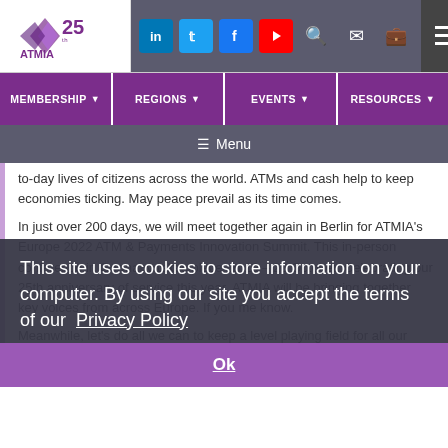ATMIA 25th anniversary logo with social media icons (LinkedIn, Twitter, Facebook, YouTube) and navigation menu
MEMBERSHIP | REGIONS | EVENTS | RESOURCES
≡ Menu
to-day lives of citizens across the world. ATMs and cash help to keep economies ticking. May peace prevail as its time comes.
In just over 200 days, we will meet together again in Berlin for ATMIA's Europe 2022 ATM & Payments Innovation Summit. This in-person conference in Germany takes place on 19 – 20 October. Celebrating our 25th anniversary of service this year, [ATMIA will be bringing together key voices from across] Europe. If you [would like to speak or present, please let] me know.
Meanwhile, let's do all we can to keep a level playing field for all our members.
Looking ahead, the architectural blueprint for the future of ATM technology has been agreed upon
This site uses cookies to store information on your computer. By using our site you accept the terms of our Privacy Policy
Ok